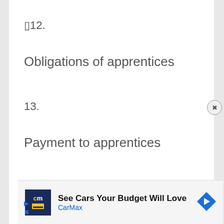▯12.
Obligations of apprentices
13.
Payment to apprentices